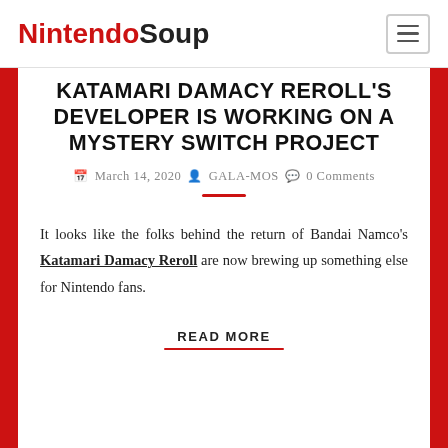NintendoSoup
KATAMARI DAMACY REROLL'S DEVELOPER IS WORKING ON A MYSTERY SWITCH PROJECT
March 14, 2020  GALA-MOS  0 Comments
It looks like the folks behind the return of Bandai Namco's Katamari Damacy Reroll are now brewing up something else for Nintendo fans.
READ MORE